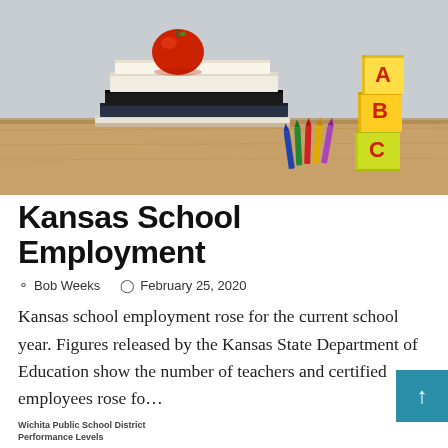[Figure (photo): Photo of stacked books with a red apple on top, colored pencils, and ABC alphabet blocks on a wooden desk surface, light gray background.]
Kansas School Employment
Bob Weeks   February 25, 2020
Kansas school employment rose for the current school year. Figures released by the Kansas State Department of Education show the number of teachers and certified employees rose fo...
Wichita Public School District
Performance Levels